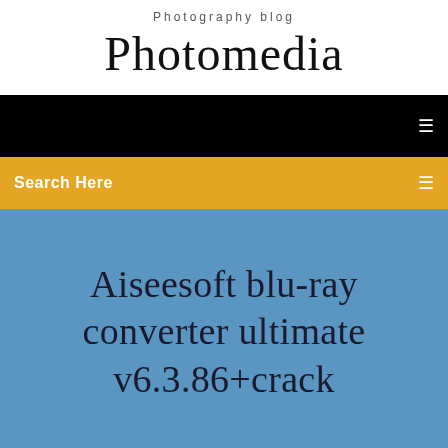Photography blog
Photomedia
Search Here
Aiseesoft blu-ray converter ultimate v6.3.86+crack